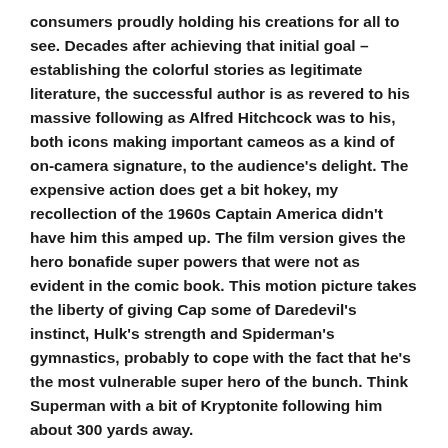consumers proudly holding his creations for all to see. Decades after achieving that initial goal – establishing the colorful stories as legitimate literature, the successful author is as revered to his massive following as Alfred Hitchcock was to his, both icons making important cameos as a kind of on-camera signature, to the audience's delight. The expensive action does get a bit hokey, my recollection of the 1960s Captain America didn't have him this amped up. The film version gives the hero bonafide super powers that were not as evident in the comic book. This motion picture takes the liberty of giving Cap some of Daredevil's instinct, Hulk's strength and Spiderman's gymnastics, probably to cope with the fact that he's the most vulnerable super hero of the bunch. Think Superman with a bit of Kryptonite following him about 300 yards away.
As Johnny Storm the producers used Chris Evans for